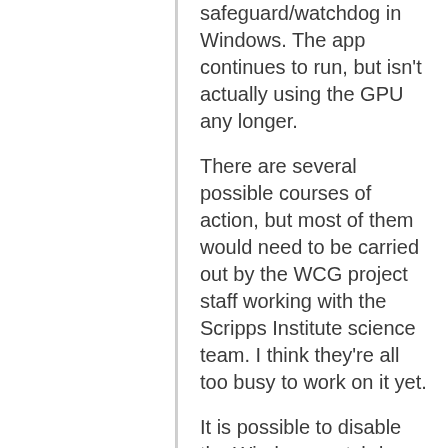safeguard/watchdog in Windows. The app continues to run, but isn't actually using the GPU any longer.
There are several possible courses of action, but most of them would need to be carried out by the WCG project staff working with the Scripps Institute science team. I think they're all too busy to work on it yet.
It is possible to disable the Windows watchdog, but it's dangerous: